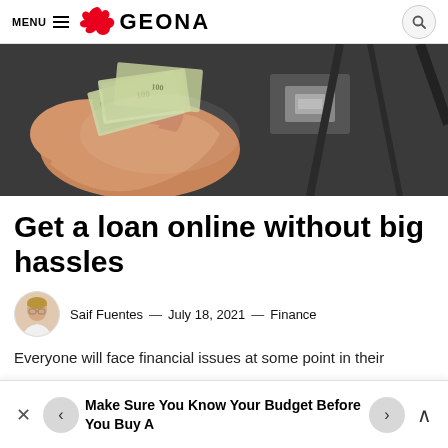MENU  GEONA
[Figure (photo): A hand holding out US dollar bills with a dark suited figure in the background]
Get a loan online without big hassles
Saif Fuentes  —  July 18, 2021  —  Finance
Everyone will face financial issues at some point in their
Make Sure You Know Your Budget Before You Buy A